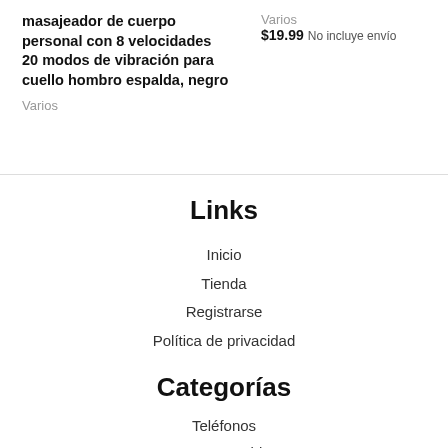masajeador de cuerpo personal con 8 velocidades 20 modos de vibración para cuello hombro espalda, negro
Varios
Varios
$19.99 No incluye envío
Links
Inicio
Tienda
Registrarse
Política de privacidad
Categorías
Teléfonos
Laptons y Tablets